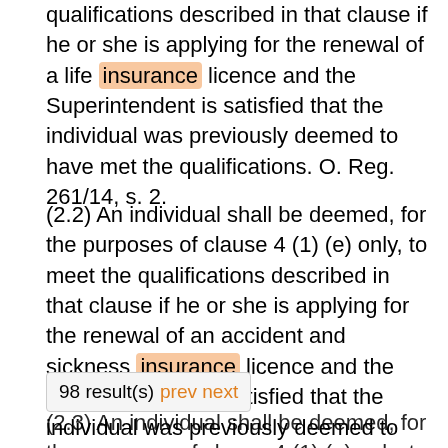qualifications described in that clause if he or she is applying for the renewal of a life insurance licence and the Superintendent is satisfied that the individual was previously deemed to have met the qualifications. O. Reg. 261/14, s. 2.
(2.2) An individual shall be deemed, for the purposes of clause 4 (1) (e) only, to meet the qualifications described in that clause if he or she is applying for the renewal of an accident and sickness insurance licence and the Superintendent is satisfied that the individual was previously deemed to have met the qualifications. O. Reg. 261/14, s. 2.
98 result(s) prev next
(2.3) An individual shall be deemed, for the purposes of clause 4 (1) (e) only, to meet the